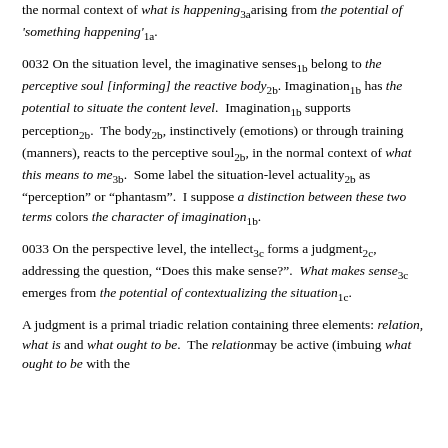the normal context of what is happening3a arising from the potential of 'something happening'1a.
0032 On the situation level, the imaginative senses1b belong to the perceptive soul [informing] the reactive body2b. Imagination1b has the potential to situate the content level. Imagination1b supports perception2b. The body2b, instinctively (emotions) or through training (manners), reacts to the perceptive soul2b, in the normal context of what this means to me3b. Some label the situation-level actuality2b as "perception" or "phantasm". I suppose a distinction between these two terms colors the character of imagination1b.
0033 On the perspective level, the intellect3c forms a judgment2c, addressing the question, "Does this make sense?". What makes sense3c emerges from the potential of contextualizing the situation1c.
A judgment is a primal triadic relation containing three elements: relation, what is and what ought to be. The relation may be active (imbuing what ought to be with the